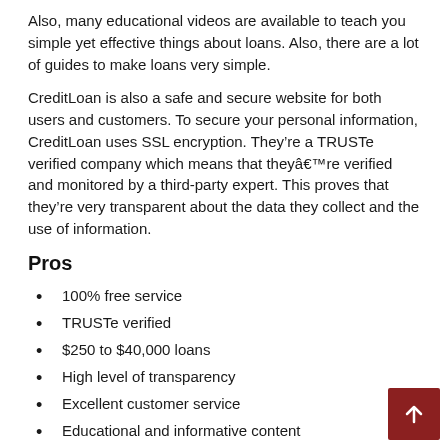Also, many educational videos are available to teach you simple yet effective things about loans. Also, there are a lot of guides to make loans very simple.
CreditLoan is also a safe and secure website for both users and customers. To secure your personal information, CreditLoan uses SSL encryption. They’re a TRUSTe verified company which means that theyâ€™re verified and monitored by a third-party expert. This proves that they’re very transparent about the data they collect and the use of information.
Pros
100% free service
TRUSTe verified
$250 to $40,000 loans
High level of transparency
Excellent customer service
Educational and informative content